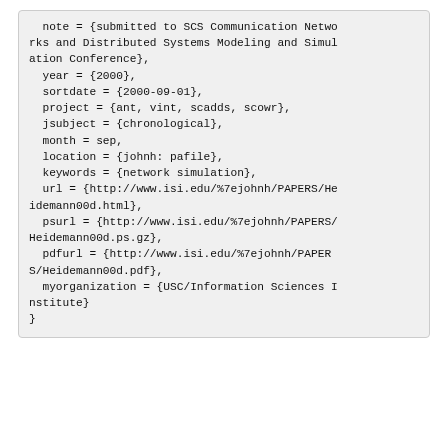note = {submitted to SCS Communication Networks and Distributed Systems Modeling and Simulation Conference},
  year = {2000},
  sortdate = {2000-09-01},
  project = {ant, vint, scadds, scowr},
  jsubject = {chronological},
  month = sep,
  location = {johnh: pafile},
  keywords = {network simulation},
  url = {http://www.isi.edu/%7ejohnh/PAPERS/Heidemann00d.html},
  psurl = {http://www.isi.edu/%7ejohnh/PAPERS/Heidemann00d.ps.gz},
  pdfurl = {http://www.isi.edu/%7ejohnh/PAPERS/Heidemann00d.pdf},
  myorganization = {USC/Information Sciences Institute}
}